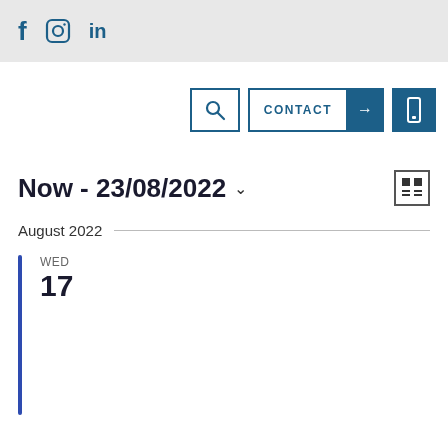f  ⊙  in
[Figure (screenshot): Navigation bar with search icon, CONTACT button with arrow, and mobile icon]
Now - 23/08/2022 ˅
August 2022
WED 17